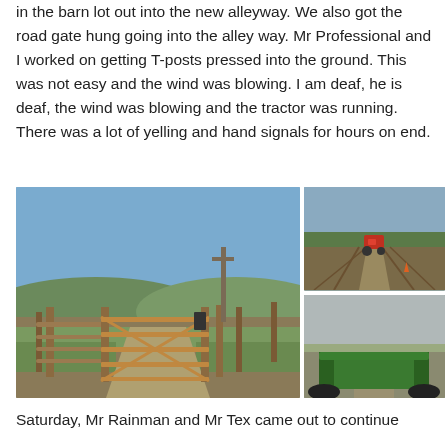in the barn lot out into the new alleyway. We also got the road gate hung going into the alley way. Mr Professional and I worked on getting T-posts pressed into the ground. This was not easy and the wind was blowing. I am deaf, he is deaf, the wind was blowing and the tractor was running. There was a lot of yelling and hand signals for hours on end.
[Figure (photo): Farm gate on a dirt path with fence posts, hills in background, blue sky]
[Figure (photo): Aerial or elevated view of tractor on a dirt path through fenced alleyway]
[Figure (photo): Green tractor attachment viewed from behind, open field with overcast sky]
Saturday, Mr Rainman and Mr Tex came out to continue